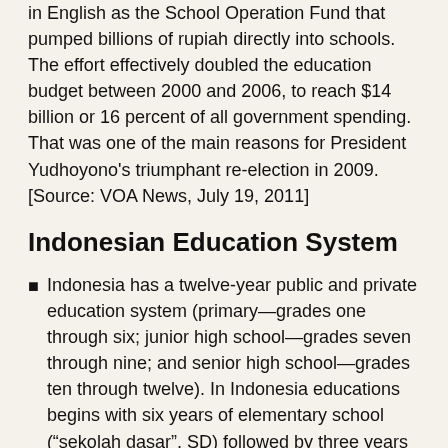in English as the School Operation Fund that pumped billions of rupiah directly into schools. The effort effectively doubled the education budget between 2000 and 2006, to reach $14 billion or 16 percent of all government spending. That was one of the main reasons for President Yudhoyono's triumphant re-election in 2009. [Source: VOA News, July 19, 2011]
Indonesian Education System
Indonesia has a twelve-year public and private education system (primary—grades one through six; junior high school—grades seven through nine; and senior high school—grades ten through twelve). In Indonesia educations begins with six years of elementary school (“sekolah dasar”, SD) followed by three years of middle school (“sekolah menengah pertama”, SMP) followed by three years of high school (“sekolah menengah atas”, SMA)
The system is supervised by the Ministry of National Education (which is responsible for nonreligious, public schools—about 92 percent of total enrollment at the primary level and 44 percent at the secondary level) and the Ministry of Religious Affairs (which is responsible for religious, private, and semiprivate schools—about 15 percent of total